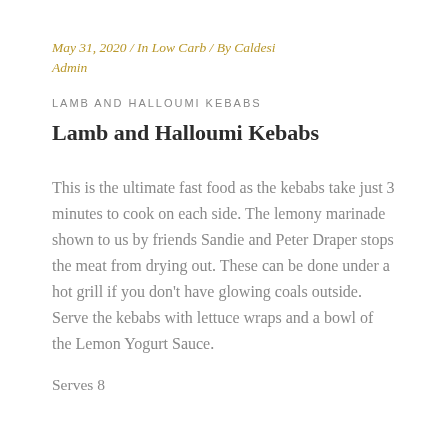May 31, 2020 / In Low Carb / By Caldesi Admin
LAMB AND HALLOUMI KEBABS
Lamb and Halloumi Kebabs
This is the ultimate fast food as the kebabs take just 3 minutes to cook on each side. The lemony marinade shown to us by friends Sandie and Peter Draper stops the meat from drying out. These can be done under a hot grill if you don't have glowing coals outside. Serve the kebabs with lettuce wraps and a bowl of the Lemon Yogurt Sauce.
Serves 8